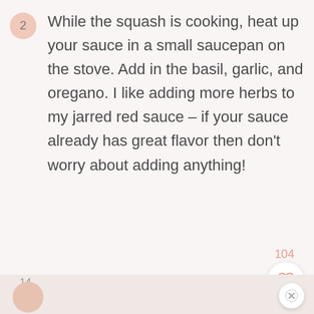2  While the squash is cooking, heat up your sauce in a small saucepan on the stove. Add in the basil, garlic, and oregano. I like adding more herbs to my jarred red sauce – if your sauce already has great flavor then don't worry about adding anything!
104
14